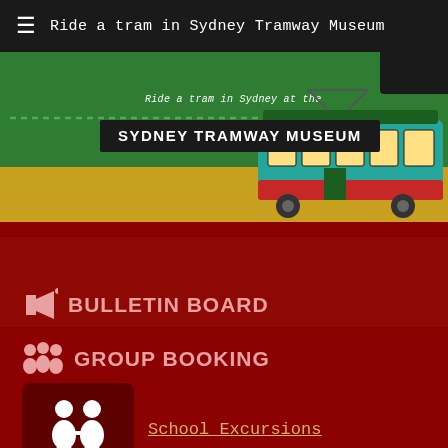Ride a tram in Sydney Tramway Museum
[Figure (screenshot): Sydney Tramway Museum banner with green and yellow background, a vintage green-and-yellow tram on the right, dotted line, subtitle 'Ride a tram in Sydney at the' and dark title box 'SYDNEY TRAMWAY MUSEUM']
BULLETIN BOARD
GROUP BOOKING
[Figure (illustration): Dark red rounded square icon with two children figures (school excursions icon)]
School Excursions
[Figure (illustration): Dark red rounded square icon with a person jumping/playing figure (vacation care groups icon)]
Vacation Care Groups